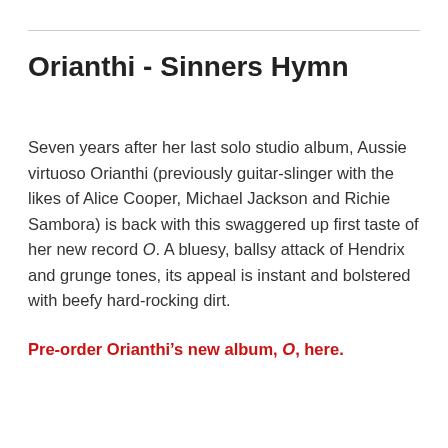Orianthi - Sinners Hymn
Seven years after her last solo studio album, Aussie virtuoso Orianthi (previously guitar-slinger with the likes of Alice Cooper, Michael Jackson and Richie Sambora) is back with this swaggered up first taste of her new record O. A bluesy, ballsy attack of Hendrix and grunge tones, its appeal is instant and bolstered with beefy hard-rocking dirt.
Pre-order Orianthi’s new album, O, here.